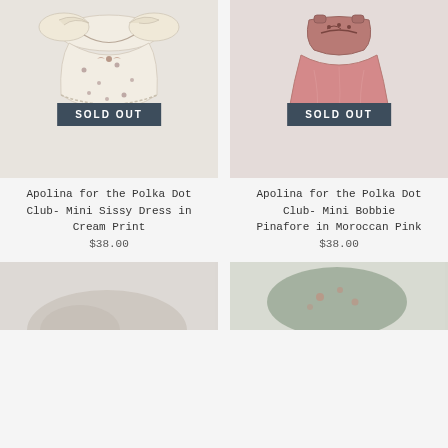[Figure (photo): Children's cream colored floral dress laid flat on light gray background with SOLD OUT badge overlay]
[Figure (photo): Children's pink pinafore dress laid flat on light gray background with SOLD OUT badge overlay]
Apolina for the Polka Dot Club- Mini Sissy Dress in Cream Print
$38.00
Apolina for the Polka Dot Club- Mini Bobbie Pinafore in Moroccan Pink
$38.00
[Figure (photo): Partial view of a children's garment, bottom of page, left column]
[Figure (photo): Partial view of a children's sage/olive green floral garment, bottom of page, right column]